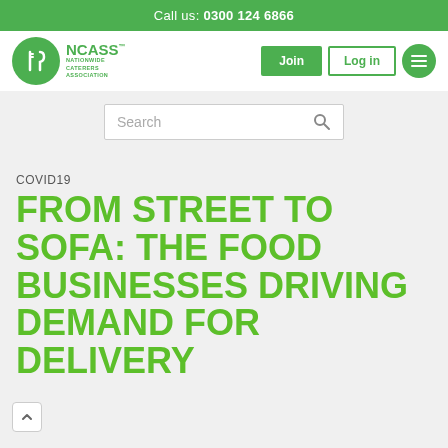Call us: 0300 124 6866
[Figure (logo): NCASS Nationwide Caterers Association logo - green circle with fork and knife icon, green text NCASS and NATIONWIDE CATERERS ASSOCIATION]
Join
Log in
Search
COVID19
FROM STREET TO SOFA: THE FOOD BUSINESSES DRIVING DEMAND FOR DELIVERY